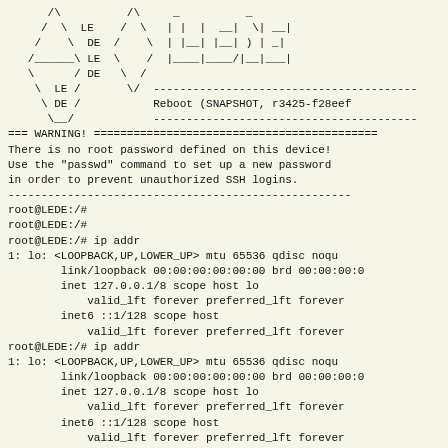[Figure (other): ASCII art logo showing LEDE text in hexagon shapes and stylized text banner]
=== WARNING! ==========================================
There is no root password defined on this device!
Use the "passwd" command to set up a new password
in order to prevent unauthorized SSH logins.
----------------------------------------------------
root@LEDE:/#
root@LEDE:/#
root@LEDE:/# ip addr
1: lo: <LOOPBACK,UP,LOWER_UP> mtu 65536 qdisc noqu
    link/loopback 00:00:00:00:00:00 brd 00:00:00:0
    inet 127.0.0.1/8 scope host lo
        valid_lft forever preferred_lft forever
    inet6 ::1/128 scope host
        valid_lft forever preferred_lft forever
root@LEDE:/# ip addr
1: lo: <LOOPBACK,UP,LOWER_UP> mtu 65536 qdisc noqu
    link/loopback 00:00:00:00:00:00 brd 00:00:00:0
    inet 127.0.0.1/8 scope host lo
        valid_lft forever preferred_lft forever
    inet6 ::1/128 scope host
        valid_lft forever preferred_lft forever
root@LEDE:/#